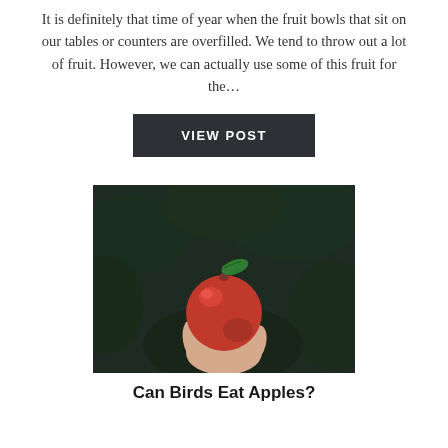It is definitely that time of year when the fruit bowls that sit on our tables or counters are overfilled. We tend to throw out a lot of fruit. However, we can actually use some of this fruit for the...
VIEW POST
[Figure (photo): A hand holding a red apple with a green leaf attached, photographed against a dark blurred green background with apple trees.]
Can Birds Eat Apples?